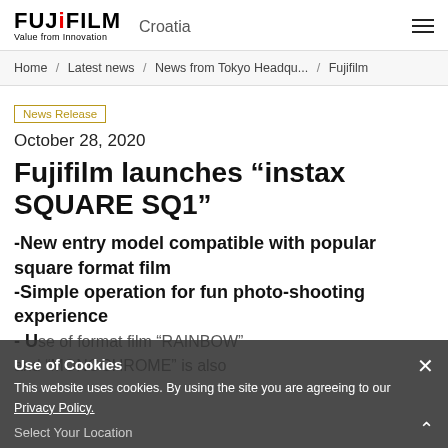FUJIFILM Croatia
Home / Latest news / News from Tokyo Headqu... / Fujifilm
News Release
October 28, 2020
Fujifilm launches “instax SQUARE SQ1”
-New entry model compatible with popular square format film -Simple operation for fun photo-shooting experience - Use of format film “RAINBOW” and “MONOCHROME” is also
Use of Cookies
This website uses cookies. By using the site you are agreeing to our Privacy Policy.
Select Your Location